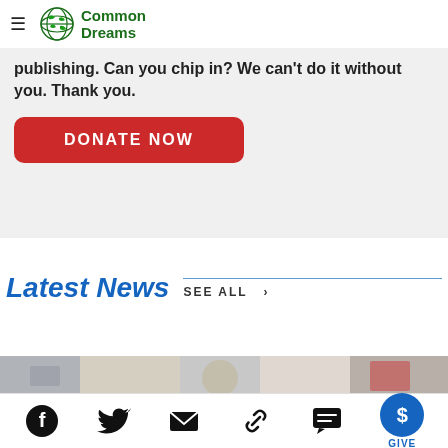Common Dreams
publishing. Can you chip in? We can't do it without you. Thank you.
DONATE NOW
Latest News
SEE ALL >
[Figure (photo): News article image strip at bottom of Latest News section]
Social icons: Facebook, Twitter, Email, Link, Comment, GIVE